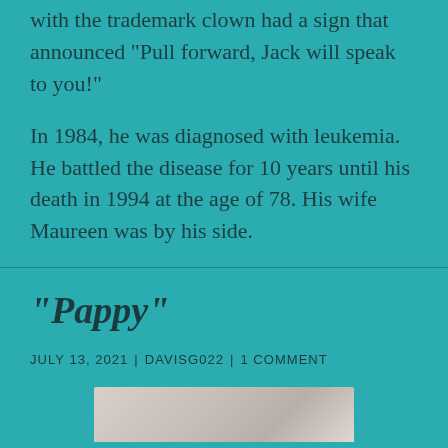with the trademark clown had a sign that announced “Pull forward, Jack will speak to you!”
In 1984, he was diagnosed with leukemia. He battled the disease for 10 years until his death in 1994 at the age of 78. His wife Maureen was by his side.
“Pappy”
JULY 13, 2021 | DAVISG022 | 1 COMMENT
[Figure (photo): Partial photo visible at bottom of page, appears to be a grayscale/sepia image]